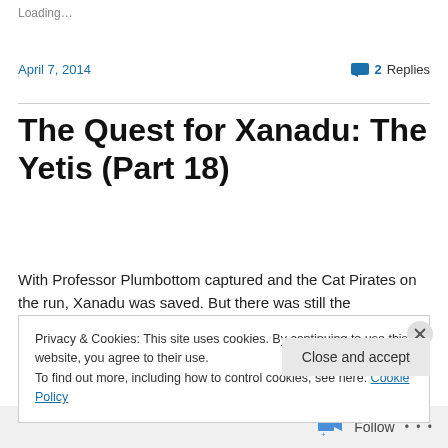Loading…
April 7, 2014    💬 2 Replies
The Quest for Xanadu: The Yetis (Part 18)
With Professor Plumbottom captured and the Cat Pirates on the run, Xanadu was saved. But there was still the question of how to get home. The yetis had a plan, though...
Privacy & Cookies: This site uses cookies. By continuing to use this website, you agree to their use.
To find out more, including how to control cookies, see here: Cookie Policy
Close and accept
Follow ...